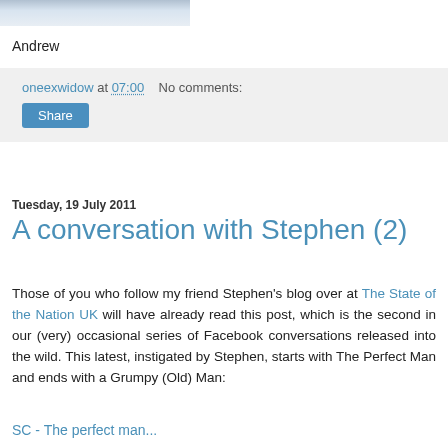[Figure (photo): Partial photo of people, cropped at top of page]
Andrew
oneexwidow at 07:00   No comments:
Share
Tuesday, 19 July 2011
A conversation with Stephen (2)
Those of you who follow my friend Stephen's blog over at The State of the Nation UK will have already read this post, which is the second in our (very) occasional series of Facebook conversations released into the wild. This latest, instigated by Stephen, starts with The Perfect Man and ends with a Grumpy (Old) Man:
SC - The perfect man...